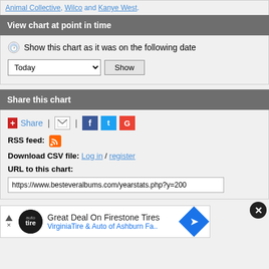Animal Collective, Wilco and Kanye West.
View chart at point in time
Show this chart as it was on the following date
Today  [dropdown]  Show [button]
Share this chart
+Share | [email] | [Facebook] [Twitter] [Google+]
RSS feed: [rss icon]
Download CSV file: Log in / register
URL to this chart:
https://www.besteveralbums.com/yearstats.php?y=200
[Figure (screenshot): Advertisement for Firestone Tires by Virginia Tire & Auto of Ashburn Fa.]